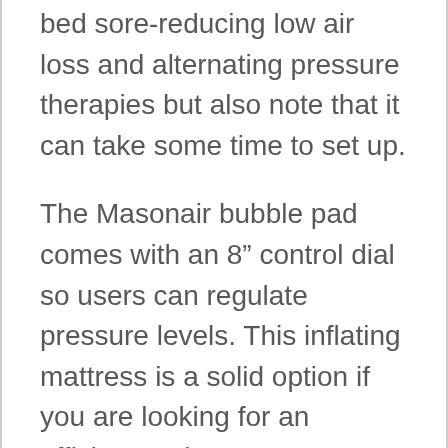bed sore-reducing low air loss and alternating pressure therapies but also note that it can take some time to set up.
The Masonair bubble pad comes with an 8” control dial so users can regulate pressure levels. This inflating mattress is a solid option if you are looking for an efficient pad to ease pressure ulcers.
Reviewers who purchased the